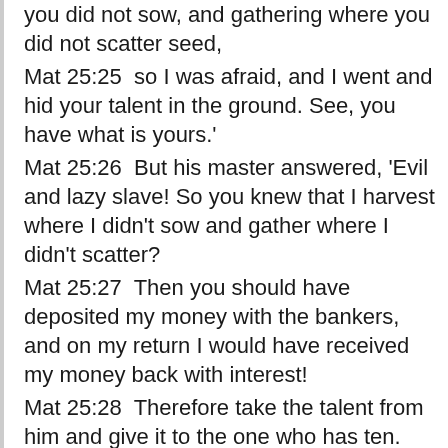you did not sow, and gathering where you did not scatter seed,
Mat 25:25  so I was afraid, and I went and hid your talent in the ground. See, you have what is yours.'
Mat 25:26  But his master answered, 'Evil and lazy slave! So you knew that I harvest where I didn't sow and gather where I didn't scatter?
Mat 25:27  Then you should have deposited my money with the bankers, and on my return I would have received my money back with interest!
Mat 25:28  Therefore take the talent from him and give it to the one who has ten.
Mat 25:29  For the one who has will be given more, and he will have more than enough. But the one who does not have,